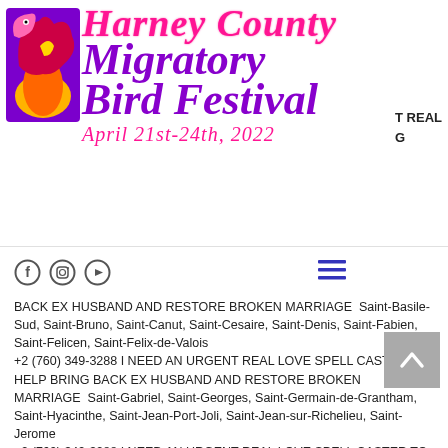[Figure (logo): Harney County Migratory Bird Festival logo with bird illustration and stylized text. April 21st-24th, 2022]
T REAL
G
BACK EX HUSBAND AND RESTORE BROKEN MARRIAGE  Saint-Basile-Sud, Saint-Bruno, Saint-Canut, Saint-Cesaire, Saint-Denis, Saint-Fabien, Saint-Felicen, Saint-Felix-de-Valois
+2 (760) 349-3288 I NEED AN URGENT REAL LOVE SPELL CASTER TO HELP BRING BACK EX HUSBAND AND RESTORE BROKEN MARRIAGE  Saint-Gabriel, Saint-Georges, Saint-Germain-de-Grantham, Saint-Hyacinthe, Saint-Jean-Port-Joli, Saint-Jean-sur-Richelieu, Saint-Jerome
+2 (760) 349-3288 I NEED AN URGENT REAL LOVE SPELL CASTER TO HELP BRING